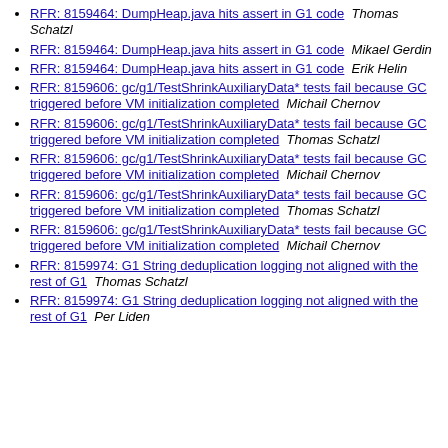RFR: 8159464: DumpHeap.java hits assert in G1 code  Thomas Schatzl
RFR: 8159464: DumpHeap.java hits assert in G1 code  Mikael Gerdin
RFR: 8159464: DumpHeap.java hits assert in G1 code   Erik Helin
RFR: 8159606: gc/g1/TestShrinkAuxiliaryData* tests fail because GC triggered before VM initialization completed  Michail Chernov
RFR: 8159606: gc/g1/TestShrinkAuxiliaryData* tests fail because GC triggered before VM initialization completed  Thomas Schatzl
RFR: 8159606: gc/g1/TestShrinkAuxiliaryData* tests fail because GC triggered before VM initialization completed  Michail Chernov
RFR: 8159606: gc/g1/TestShrinkAuxiliaryData* tests fail because GC triggered before VM initialization completed  Thomas Schatzl
RFR: 8159606: gc/g1/TestShrinkAuxiliaryData* tests fail because GC triggered before VM initialization completed  Michail Chernov
RFR: 8159974: G1 String deduplication logging not aligned with the rest of G1   Thomas Schatzl
RFR: 8159974: G1 String deduplication logging not aligned with the rest of G1   Per Liden